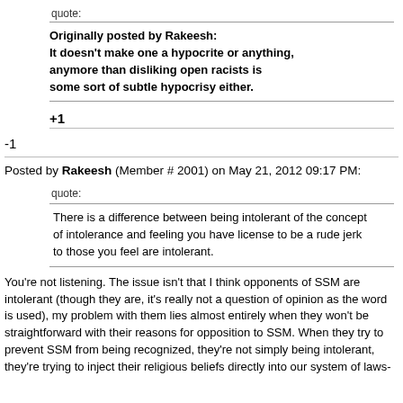quote:
Originally posted by Rakeesh:
It doesn't make one a hypocrite or anything, anymore than disliking open racists is some sort of subtle hypocrisy either.
+1
-1
Posted by Rakeesh (Member # 2001) on May 21, 2012 09:17 PM:
quote:
There is a difference between being intolerant of the concept of intolerance and feeling you have license to be a rude jerk to those you feel are intolerant.
You're not listening. The issue isn't that I think opponents of SSM are intolerant (though they are, it's really not a question of opinion as the word is used), my problem with them lies almost entirely when they won't be straightforward with their reasons for opposition to SSM. When they try to prevent SSM from being recognized, they're not simply being intolerant, they're trying to inject their religious beliefs directly into our system of laws-